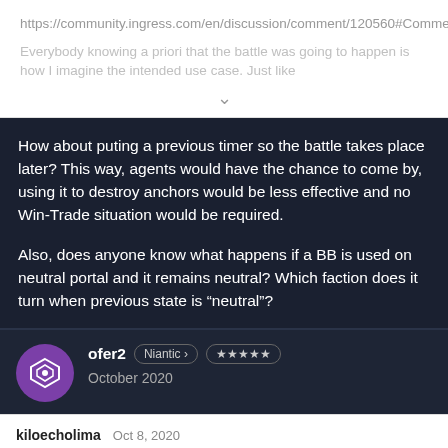https://community.ingress.com/en/discussion/comment/120560#Comment_120560
Everybody knowing a priori that the battle was going to happen is how I imagine the intended use case. Just like
How about puting a previous timer so the battle takes place later? This way, agents would have the chance to come by, using it to destroy anchors would be less effective and no Win-Trade situation would be required.

Also, does anyone know what happens if a BB is used on neutral portal and it remains neutral? Which faction does it turn when previous state is "neutral"?
ofer2  Niantic >  ★★★★★  October 2020
kiloecholima  Oct 8, 2020
https://community.ingress.com/en/discussion/comment/12